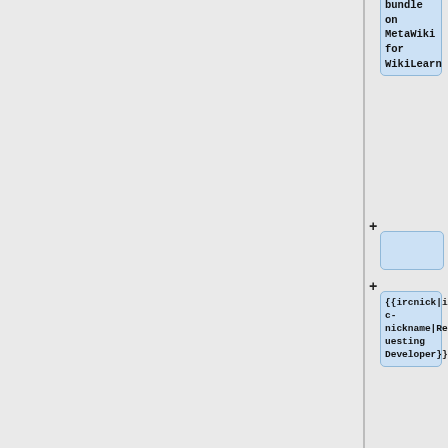[Figure (screenshot): Diff view showing wiki template code additions. Left panel is gray. Right panel shows code blocks with blue background boxes containing: 'bundle on MetaWiki for WikiLearn', an empty addition, '{{ircnick|irc-nickname|Requesting Developer}}', '* ''Gerrit link to backport or config change''', '}}', and '{{Deployment calendar'. Plus signs indicate added lines.]
bundle on
MetaWiki
for
WikiLearn
{{ircnick|ir
c-
nickname|Req
uesting
Developer}}
* ''Gerrit
link to
backport or
config
change''
}}
{{Deployment
calendar